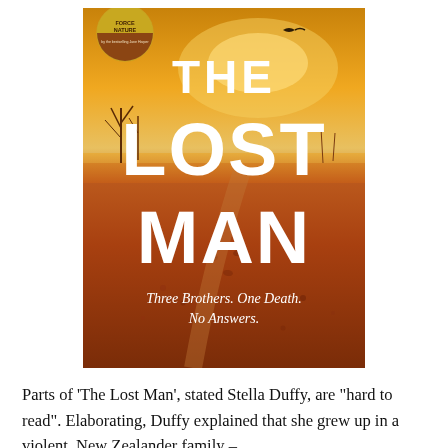[Figure (illustration): Book cover of 'The Lost Man' by Jane Harper. Features a dramatic red outback landscape under a golden sky with a bird silhouette. Bold white text reads 'THE LOST MAN' with subtitle 'Three Brothers. One Death. No Answers.' A circular badge in the top-left reads 'Force of Nature'.]
Parts of ‘The Lost Man’, stated Stella Duffy, are “hard to read”. Elaborating, Duffy explained that she grew up in a violent, New Zealander family –